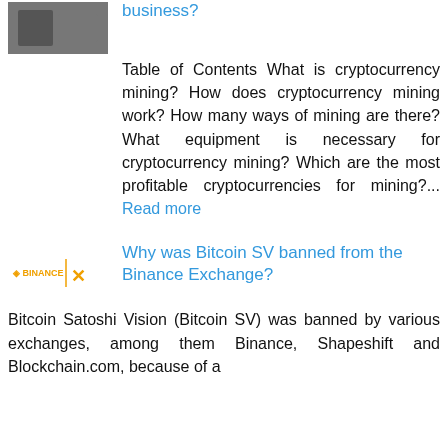[Figure (photo): Thumbnail image of a person or related to cryptocurrency mining business article]
business?
Table of Contents What is cryptocurrency mining? How does cryptocurrency mining work? How many ways of mining are there? What equipment is necessary for cryptocurrency mining? Which are the most profitable cryptocurrencies for mining?... Read more
[Figure (logo): Binance logo with stylized XO symbol]
Why was Bitcoin SV banned from the Binance Exchange?
Bitcoin Satoshi Vision (Bitcoin SV) was banned by various exchanges, among them Binance, Shapeshift and Blockchain.com, because of a